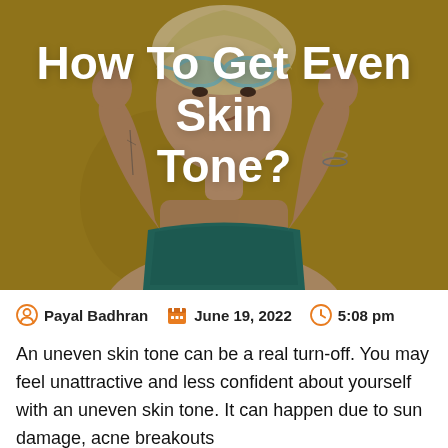[Figure (photo): A young woman with sunglasses on her forehead, hands raised near her face, wearing a teal crop top, against a yellow wall background. The image has a dark overlay with white bold title text overlaid.]
How To Get Even Skin Tone?
Payal Badhran   June 19, 2022   5:08 pm
An uneven skin tone can be a real turn-off. You may feel unattractive and less confident about yourself with an uneven skin tone. It can happen due to sun damage, acne breakouts